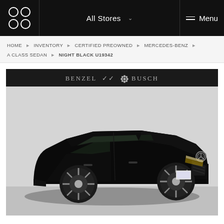All Stores  Menu
HOME » INVENTORY » CERTIFIED PREOWNED » MERCEDES-BENZ » A CLASS SEDAN » NIGHT BLACK U19342
[Figure (photo): Black Mercedes-Benz A Class Sedan photographed in a dealership showroom from a front three-quarter angle. The car is glossy black with silver alloy wheels. A Benzel Busch dealership banner appears at the top of the image.]